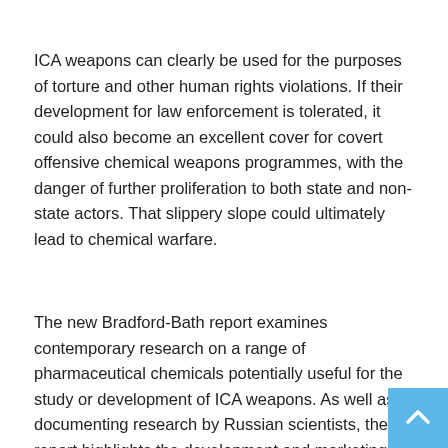ICA weapons can clearly be used for the purposes of torture and other human rights violations. If their development for law enforcement is tolerated, it could also become an excellent cover for covert offensive chemical weapons programmes, with the danger of further proliferation to both state and non-state actors. That slippery slope could ultimately lead to chemical warfare.
The new Bradford-Bath report examines contemporary research on a range of pharmaceutical chemicals potentially useful for the study or development of ICA weapons. As well as documenting research by Russian scientists, the report highlights the development and marketing by Chinese companies of ICA weapons employing an unknown anaesthetic agent for use against individuals, and the possession of such weapons in 2012 by the Chinese Peoples'